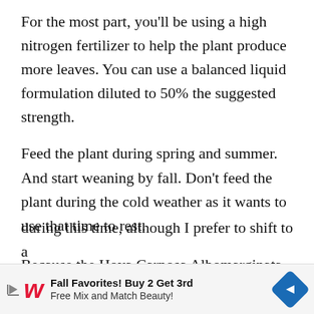For the most part, you'll be using a high nitrogen fertilizer to help the plant produce more leaves. You can use a balanced liquid formulation diluted to 50% the suggested strength.
Feed the plant during spring and summer. And start weaning by fall. Don't feed the plant during the cold weather as it wants to use that time to rest.
Because the Hoya Carnosa Albomarginata will flower, you can also help it along during this time. Some growers just use the balanced fertilizer during this time, although I prefer to shift to a
[Figure (other): Walgreens advertisement banner: Fall Favorites! Buy 2 Get 3rd Free Mix and Match Beauty! with Walgreens logo and blue diamond navigation arrow icon]